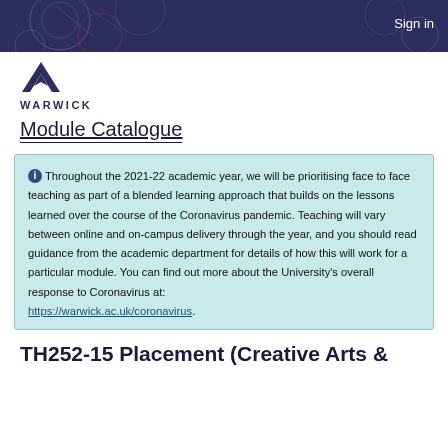Sign in
[Figure (logo): University of Warwick logo with stylized W and WARWICK text]
Module Catalogue
Throughout the 2021-22 academic year, we will be prioritising face to face teaching as part of a blended learning approach that builds on the lessons learned over the course of the Coronavirus pandemic. Teaching will vary between online and on-campus delivery through the year, and you should read guidance from the academic department for details of how this will work for a particular module. You can find out more about the University's overall response to Coronavirus at: https://warwick.ac.uk/coronavirus.
TH252-15 Placement (Creative Arts &